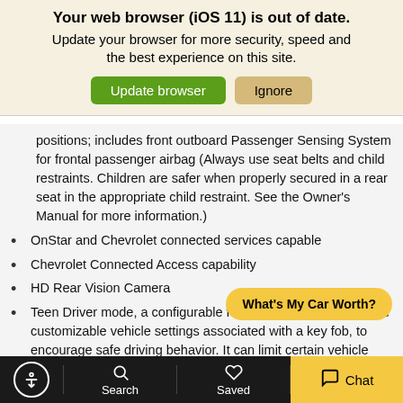Your web browser (iOS 11) is out of date.
Update your browser for more security, speed and the best experience on this site.
positions; includes front outboard Passenger Sensing System for frontal passenger airbag (Always use seat belts and child restraints. Children are safer when properly secured in a rear seat in the appropriate child restraint. See the Owner's Manual for more information.)
OnStar and Chevrolet connected services capable
Chevrolet Connected Access capability
HD Rear Vision Camera
Teen Driver mode, a configurable feature that lets you activate customizable vehicle settings associated with a key fob, to encourage safe driving behavior. It can limit certain vehicle features, and it prevents certain safety systems from being turned off. An in-vehicle report card gives you information on driving habits and helps yo... your new driver
What's My Car Worth?
Accessibility | Search | Saved | Chat